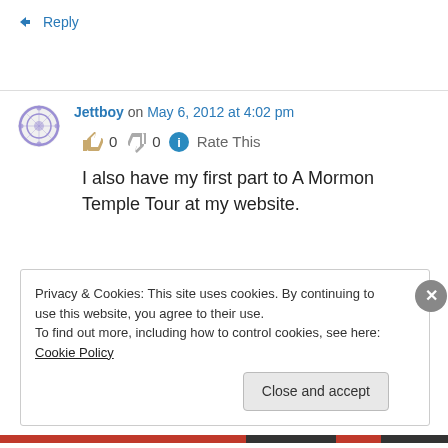↳ Reply
Jettboy on May 6, 2012 at 4:02 pm
👍 0 👎 0 ℹ Rate This
I also have my first part to A Mormon Temple Tour at my website.
Privacy & Cookies: This site uses cookies. By continuing to use this website, you agree to their use.
To find out more, including how to control cookies, see here: Cookie Policy
Close and accept